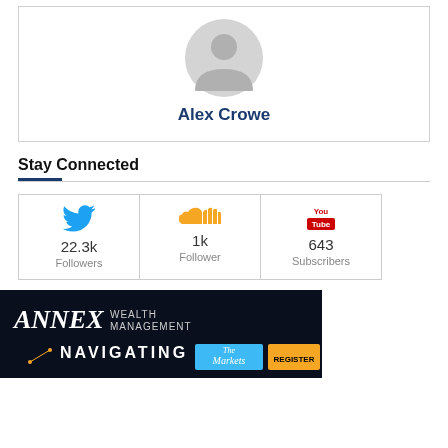[Figure (illustration): Generic user avatar (grey silhouette on white background)]
Alex Crowe
Stay Connected
[Figure (infographic): Social media follower counts: Twitter 22.3k Followers, SoundCloud 1k Follower, YouTube 643 Subscribers]
[Figure (photo): Annex Wealth Management advertisement banner — Navigating The Markets, Register button]